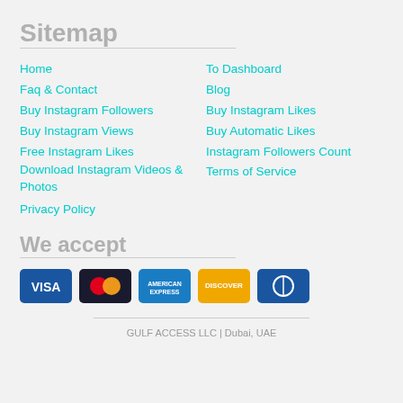Sitemap
Home
Faq & Contact
Buy Instagram Followers
Buy Instagram Views
Free Instagram Likes
Download Instagram Videos & Photos
Privacy Policy
To Dashboard
Blog
Buy Instagram Likes
Buy Automatic Likes
Instagram Followers Count
Terms of Service
We accept
[Figure (other): Payment method icons: VISA, Mastercard, American Express, Discover, Diners Club]
GULF ACCESS LLC | Dubai, UAE